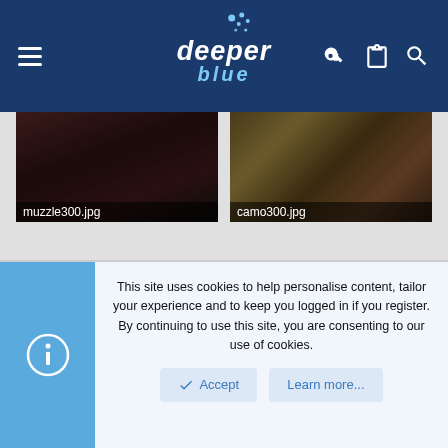[Figure (screenshot): DeeperBlue website header with hamburger menu on left, DeeperBlue logo in center with blue dots graphic, and icons (key, clipboard, search) on right. Dark navy blue background.]
[Figure (photo): Two thumbnail images side by side: left labeled 'muzzle300.jpg' showing dark underwater image, right labeled 'camo300.jpg' showing camouflage-patterned underwater image.]
This site uses cookies to help personalise content, tailor your experience and to keep you logged in if you register.
By continuing to use this site, you are consenting to our use of cookies.
Accept
Learn more...